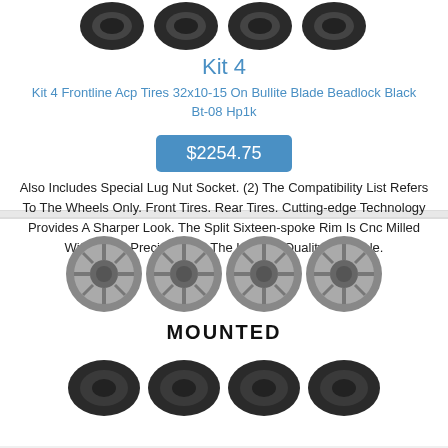[Figure (photo): Four black ATV tires shown at the top of the first card]
Kit 4
Kit 4 Frontline Acp Tires 32x10-15 On Bullite Blade Beadlock Black Bt-08 Hp1k
$2254.75
Also Includes Special Lug Nut Socket. (2) The Compatibility List Refers To The Wheels Only. Front Tires. Rear Tires. Cutting-edge Technology Provides A Sharper Look. The Split Sixteen-spoke Rim Is Cnc Milled With Laser Precision For The Highest Quality Available.
[Figure (photo): Four silver/chrome alloy wheels labeled MOUNTED above, and four ATV tires below in the second card]